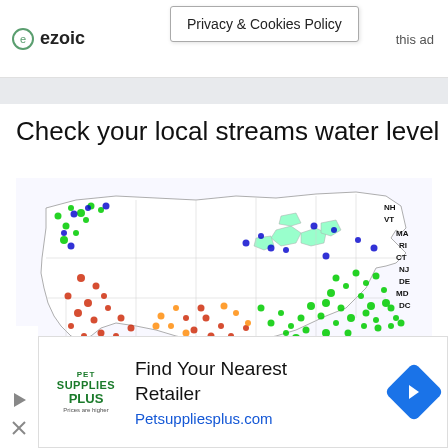ezoic | Privacy & Cookies Policy | this ad
Check your local streams water level
[Figure (map): USGS streamflow map of the contiguous United States showing local stream water levels with colored dots (blue, green, red, orange) indicating various stream gauge readings across all states, with state abbreviations labeled on the right side including NH, VT, MA, RI, CT, NJ, DE, MD, DC, and PR-VI.]
[Figure (infographic): Advertisement for Pet Supplies Plus showing logo, headline 'Find Your Nearest Retailer', URL Petsuppliesplus.com, and a blue diamond navigation arrow icon.]